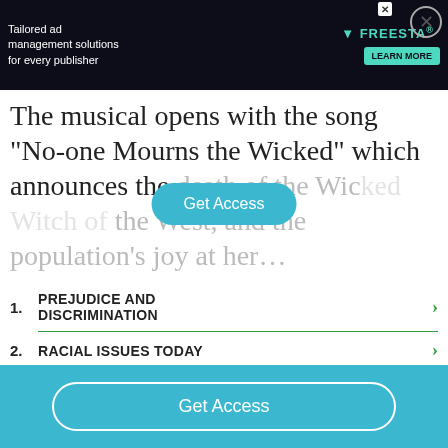[Figure (screenshot): Advertisement banner for Freestar tailored ad management solutions for every publisher, with a Learn More button on a dark background with colorful characters]
The musical opens with the song “No-one Mourns the Wicked” which announces the death of the Wicked Witch of the West, and the population’s joy at her…
1. PREJUDICE AND DISCRIMINATION
2. RACIAL ISSUES TODAY
Get Access